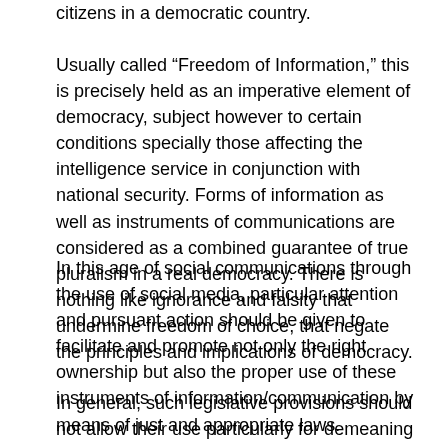citizens in a democratic country.
Usually called “Freedom of Information,” this is precisely held as an imperative element of democracy, subject however to certain conditions specially those affecting the intelligence service in conjunction with national security. Forms of information as well as instruments of communications are considered as a combined guarantee of true pluralism in a real democracy. There is nothing like ignorance and falsity that undermine freedom of choice, that negate the principles and implications of democracy.
In this age of social communications through the use of social media, particular attention and pursuant action should be given to facilitate and promote not only the right ownership but also the proper use of these instruments of information/communication by means of just and appropriate laws.
In general, such legislative provisions should not allow their use particularly for demeaning human dignity or violating human rights. As a matter of principle,